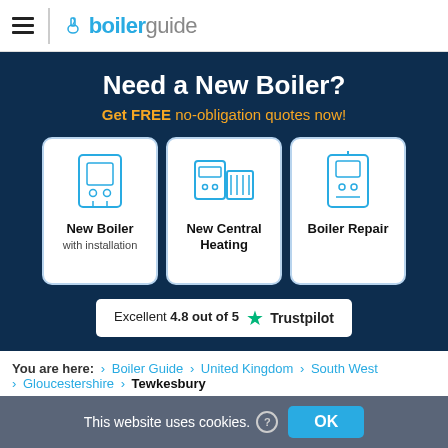boilerguide
Need a New Boiler?
Get FREE no-obligation quotes now!
[Figure (illustration): Three service option cards: New Boiler with installation, New Central Heating, Boiler Repair — each with a blue line-art icon]
Excellent 4.8 out of 5 ★ Trustpilot
You are here: > Boiler Guide > United Kingdom > South West > Gloucestershire > Tewkesbury
Find Boiler Installers in
This website uses cookies. ? OK